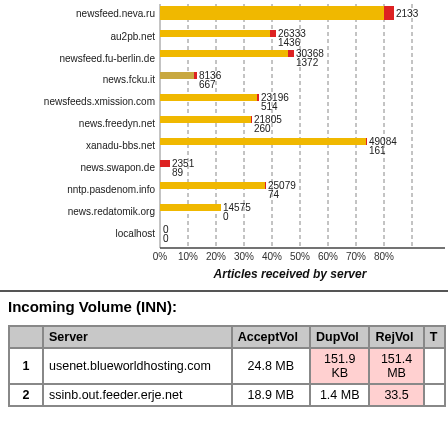[Figure (bar-chart): Articles received by server]
Incoming Volume (INN):
| Server | AcceptVol | DupVol | RejVol | T |
| --- | --- | --- | --- | --- |
| 1 | usenet.blueworldhosting.com | 24.8 MB | 151.9 KB | 151.4 MB |  |
| 2 | ssinb.out.feeder.erje.net | 18.9 MB | 1.4 MB | 33.5 |  |